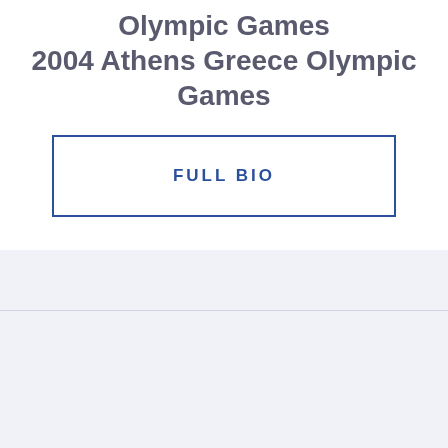Olympic Games 2004 Athens Greece Olympic Games
FULL BIO